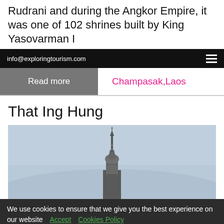Rudrani and during the Angkor Empire, it was one of 102 shrines built by King Yasovarman I
info@exploringtourism.com
Read more   Champasak,Laos
That Ing Hung
[Figure (photo): Tall spire or stupa tower photographed against a hazy blue-grey sky, appears to be a Buddhist or Hindu temple structure]
We use cookies to ensure that we give you the best experience on our website  Accept  Cookies Policy
Send Us Your Travel Enquiry